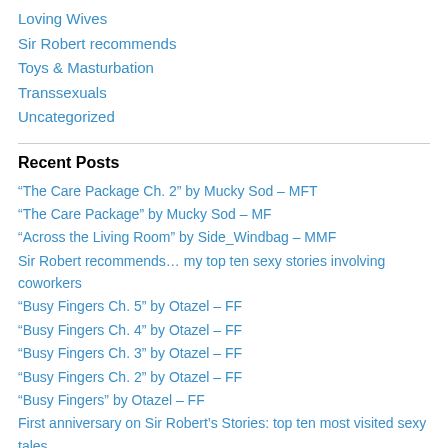Loving Wives
Sir Robert recommends
Toys & Masturbation
Transsexuals
Uncategorized
Recent Posts
“The Care Package Ch. 2” by Mucky Sod – MFT
“The Care Package” by Mucky Sod – MF
“Across the Living Room” by Side_Windbag – MMF
Sir Robert recommends… my top ten sexy stories involving coworkers
“Busy Fingers Ch. 5” by Otazel – FF
“Busy Fingers Ch. 4” by Otazel – FF
“Busy Fingers Ch. 3” by Otazel – FF
“Busy Fingers Ch. 2” by Otazel – FF
“Busy Fingers” by Otazel – FF
First anniversary on Sir Robert’s Stories: top ten most visited sexy tales
“Christmas Post Party Went Out With A Bang” by HerHappyHubby –